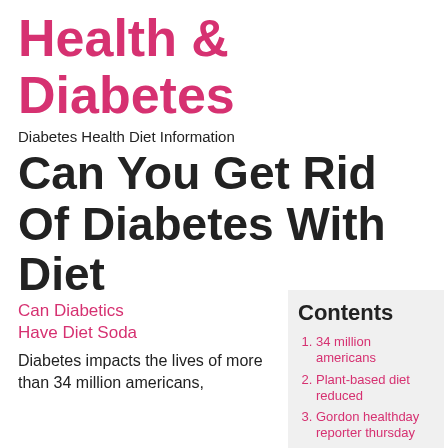Health & Diabetes
Diabetes Health Diet Information
Can You Get Rid Of Diabetes With Diet
Can Diabetics Have Diet Soda
Diabetes impacts the lives of more than 34 million americans,
Contents
34 million americans
Plant-based diet reduced
Gordon healthday reporter thursday
Gordon healthday reporter